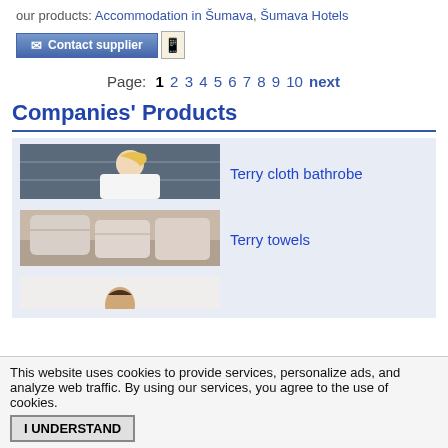our products: Accommodation in Šumava, Šumava Hotels
[Figure (screenshot): Contact supplier button with envelope icon and mobile phone icon]
Page: 1 2 3 4 5 6 7 8 9 10 next
Companies' Products
[Figure (photo): Woman in white bathrobe in bathroom setting]
Terry cloth bathrobe
[Figure (photo): Folded pink/beige terry towels stacked on shelf]
Terry towels
[Figure (photo): Partial image showing a person, cut off at bottom]
This website uses cookies to provide services, personalize ads, and analyze web traffic. By using our services, you agree to the use of cookies.
I UNDERSTAND